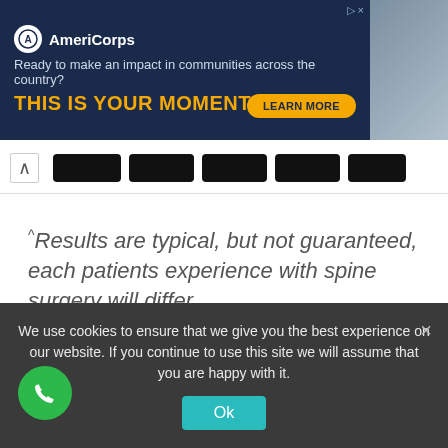[Figure (screenshot): AmeriCorps advertisement banner with dark navy background. Includes AmeriCorps logo, tagline 'Ready to make an impact in communities across the country?', headline 'THIS IS YOUR MOMENT.' in gold text, a 'LEARN MORE' button, and a photo of people working.]
[Figure (screenshot): Navigation bar with a chevron/collapse button and five black pill-shaped nav items.]
^Results are typical, but not guaranteed, each patients experience with spine surgery will differ.
For more information, visit usaspinecare.com/results. The information contained on this website is for educational purposes only, and is not intended to serve as a
We use cookies to ensure that we give you the best experience on our website. If you continue to use this site we will assume that you are happy with it.
Ok